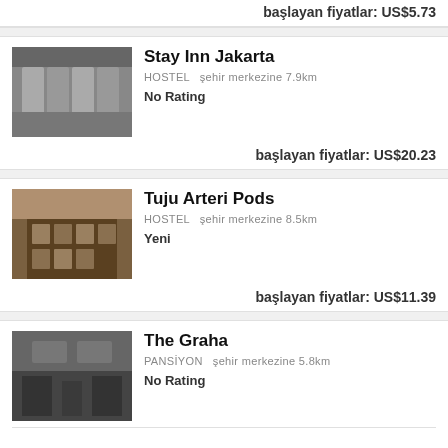başlayan fiyatlar: US$5.73
[Figure (photo): Interior photo of Stay Inn Jakarta hostel with pod beds]
Stay Inn Jakarta
HOSTEL  şehir merkezine 7.9km
No Rating
başlayan fiyatlar: US$20.23
[Figure (photo): Exterior photo of Tuju Arteri Pods building]
Tuju Arteri Pods
HOSTEL  şehir merkezine 8.5km
Yeni
başlayan fiyatlar: US$11.39
[Figure (photo): Exterior night photo of The Graha guesthouse]
The Graha
PANSİYON  şehir merkezine 5.8km
No Rating